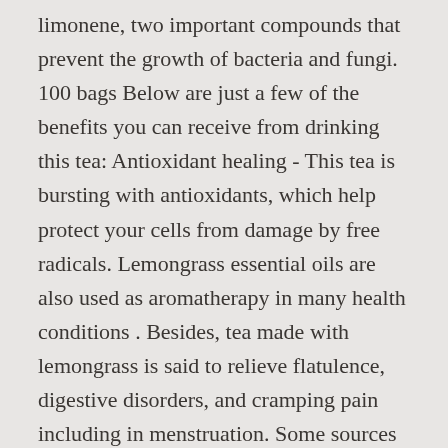limonene, two important compounds that prevent the growth of bacteria and fungi. 100 bags Below are just a few of the benefits you can receive from drinking this tea: Antioxidant healing - This tea is bursting with antioxidants, which help protect your cells from damage by free radicals. Lemongrass essential oils are also used as aromatherapy in many health conditions . Besides, tea made with lemongrass is said to relieve flatulence, digestive disorders, and cramping pain including in menstruation. Some sources say that lemongrass also helps to treat prostate cancer - although specific research is lacking. The easiest way to make lemongrass tea is